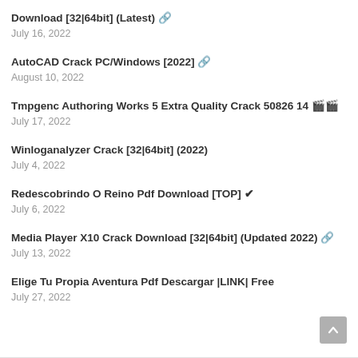Download [32|64bit] (Latest) 🔗
July 16, 2022
AutoCAD Crack PC/Windows [2022] 🔗
August 10, 2022
Tmpgenc Authoring Works 5 Extra Quality Crack 50826 14 🎬🎬
July 17, 2022
Winloganalyzer Crack [32|64bit] (2022)
July 4, 2022
Redescobrindo O Reino Pdf Download [TOP] ✔
July 6, 2022
Media Player X10 Crack Download [32|64bit] (Updated 2022) 🔗
July 13, 2022
Elige Tu Propia Aventura Pdf Descargar |LINK| Free
July 27, 2022